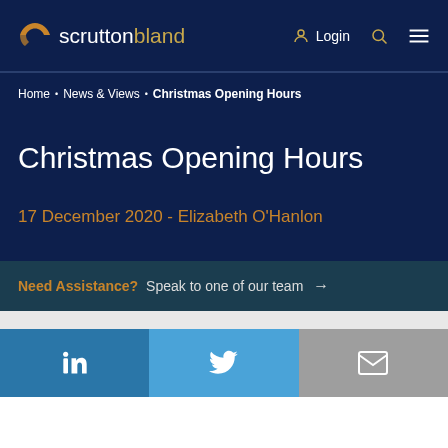scrutton bland — Login
Home • News & Views • Christmas Opening Hours
Christmas Opening Hours
17 December 2020 - Elizabeth O'Hanlon
Need Assistance? Speak to one of our team →
[Figure (other): Social media share bar with LinkedIn, Twitter, and email icons]